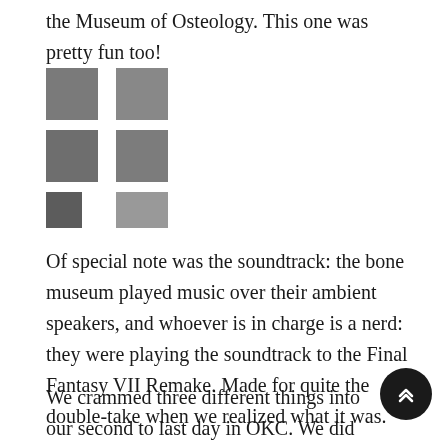the Museum of Osteology. This one was pretty fun too!
[Figure (photo): Six small thumbnail photos arranged in a 2-column grid, showing museum exhibits in grayscale.]
Of special note was the soundtrack: the bone museum played music over their ambient speakers, and whoever is in charge is a nerd: they were playing the soundtrack to the Final Fantasy VII Remake. Made for quite the double-take when we realized what it was.
We crammed three different things into our second to last day in OKC. We did the Museum of Art, the Botanical Gardens, and the Memorial Museum.